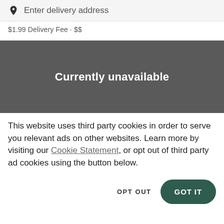Enter delivery address
$1.99 Delivery Fee · $$
[Figure (screenshot): Dark gray banner with white text reading 'Currently unavailable']
This website uses third party cookies in order to serve you relevant ads on other websites. Learn more by visiting our Cookie Statement, or opt out of third party ad cookies using the button below.
OPT OUT
GOT IT